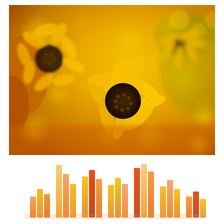[Figure (photo): Close-up photograph of yellow and orange black-eyed Susan flowers (Rudbeckia) with dark brown centers, with a blurred bokeh background of more yellow and orange flowers.]
[Figure (bar-chart): Decorative 3D-style bar chart with bars in shades of orange, yellow, and red-orange, blurred and artistic in style, matching the color palette of the flower photo above.]